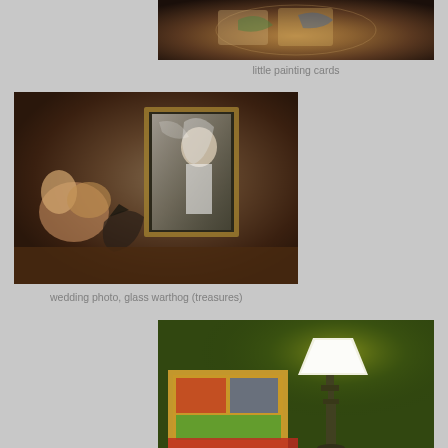[Figure (photo): Close-up photo of little painting cards with colorful painted designs, partially visible at top of page]
little painting cards
[Figure (photo): Interior room photo showing a wedding photo in a gold frame and a glass warthog figurine among other decorative items, with a woman reflected or visible behind glass]
wedding photo, glass warthog (treasures)
[Figure (photo): Interior room photo with green walls, a lit table lamp with white shade, and colorful items/books on a surface, partially visible at bottom of page]